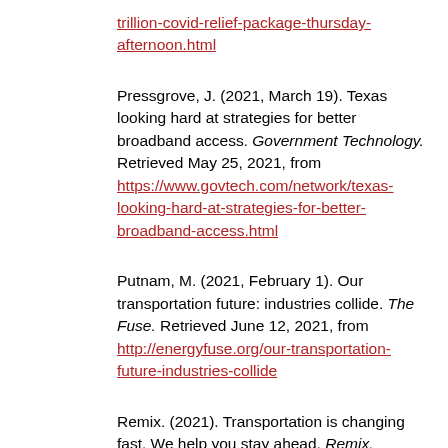trillion-covid-relief-package-thursday-afternoon.html
Pressgrove, J. (2021, March 19). Texas looking hard at strategies for better broadband access. Government Technology. Retrieved May 25, 2021, from https://www.govtech.com/network/texas-looking-hard-at-strategies-for-better-broadband-access.html
Putnam, M. (2021, February 1). Our transportation future: industries collide. The Fuse. Retrieved June 12, 2021, from http://energyfuse.org/our-transportation-future-industries-collide
Remix. (2021). Transportation is changing fast. We help you stay ahead. Remix. Retrieved May 25, 2021, from https://www.remix.com/
Reuters. (2021, April 8). Electric trucks may soon challenge diesel if charging hurdle cleared, study